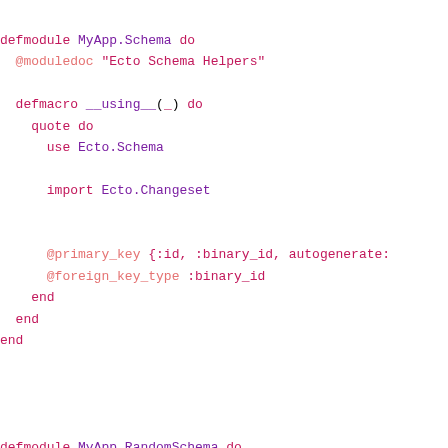defmodule MyApp.Schema do
  @moduledoc "Ecto Schema Helpers"

  defmacro __using__(_) do
    quote do
      use Ecto.Schema

      import Ecto.Changeset


      @primary_key {:id, :binary_id, autogenerate:
      @foreign_key_type :binary_id
    end
  end
end




defmodule MyApp.RandomSchema do

-    use Ecto.Schema